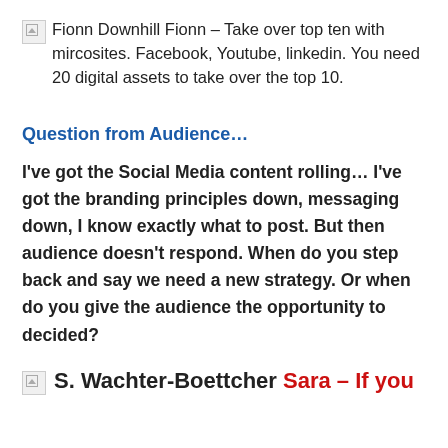Fionn Downhill Fionn – Take over top ten with mircosites. Facebook, Youtube, linkedin. You need 20 digital assets to take over the top 10.
Question from Audience…
I've got the Social Media content rolling… I've got the branding principles down, messaging down, I know exactly what to post. But then audience doesn't respond. When do you step back and say we need a new strategy. Or when do you give the audience the opportunity to decided?
S. Wachter-Boettcher Sara – If you